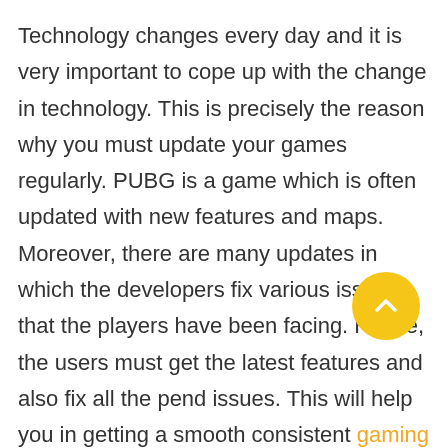Technology changes every day and it is very important to cope up with the change in technology. This is precisely the reason why you must update your games regularly. PUBG is a game which is often updated with new features and maps. Moreover, there are many updates in which the developers fix various issues that the players have been facing. Hence, the users must get the latest features and also fix all the pending issues. This will help you in getting a smooth and consistent gaming experience on your emulator. Therefore, you must update PUBG in the emulator without thinking twice.
[Figure (other): Yellow circular scroll-to-top button with a white upward chevron arrow]